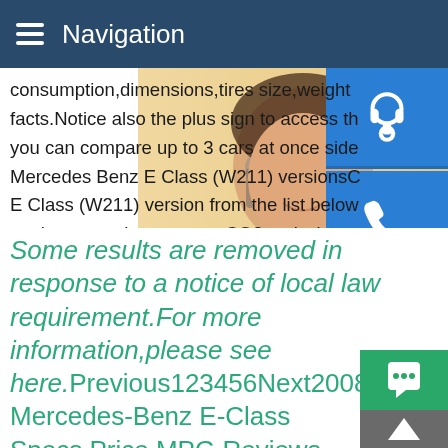Navigation
consumption,dimensions,tires size,weight facts.Notice also the plus sign to access th you can compare up to 3 cars at once side Mercedes Benz E Class (W211) versionsC E Class (W211) version from the list below engine specs,horsepower,CO2 emissions, consumption,dimensions,tires size,weight facts.Notice also the plus sign to access th you can compare up to 3 cars at once side
[Figure (photo): Woman with headset, customer service photo, with floating blue icon buttons (headset, phone, Skype) on the right side and an advertisement overlay with text MANUAL SE, QUOTING O, Email: bsteel1@163.com]
Some results are removed in response to a notice of local law requirement.For more information,please see here.Previous123456Next2008 Mercedes-Benz E-Class Specs,Price,MPG Reviews
Research the 2008 Mercedes-Benz E-Class at cars and find